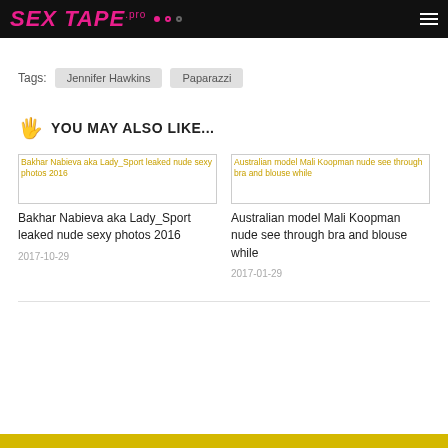SEX TAPE.pro
Tags: Jennifer Hawkins  Paparazzi
YOU MAY ALSO LIKE...
Bakhar Nabieva aka Lady_Sport leaked nude sexy photos 2016
2017-10-29
Australian model Mali Koopman nude see through bra and blouse while
2017-01-29